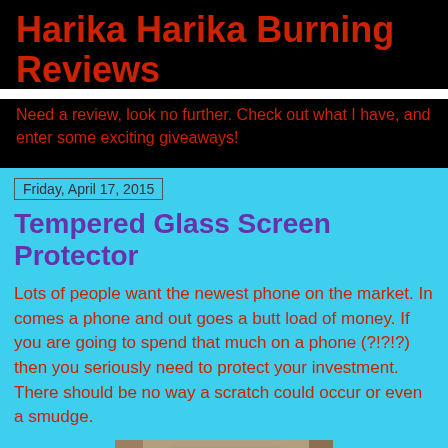Harika Harika Burning Reviews
Need a review, look no further. Check out what I have, and enter some exciting giveaways!
Friday, April 17, 2015
Tempered Glass Screen Protector
Lots of people want the newest phone on the market. In comes a phone and out goes a butt load of money. If you are going to spend that much on a phone (?!?!?) then you seriously need to protect your investment. There should be no way a scratch could occur or even a smudge.
[Figure (photo): Photo of a tempered glass screen protector product packaging showing '#1 Ballistic Glass Tech Shield' label]